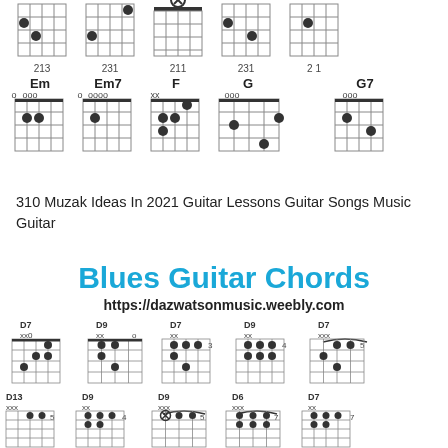[Figure (illustration): Guitar chord diagrams showing Em, Em7, F, G, G7 chords with fingering numbers and fret positions at the top of the page]
310 Muzak Ideas In 2021 Guitar Lessons Guitar Songs Music Guitar
[Figure (illustration): Blues Guitar Chords header image with URL https://dazwatsonmusic.weebly.com and multiple blues guitar chord diagrams (D7, D9, D13, D6) showing fingering positions]
Blues Guitar Chords
https://dazwatsonmusic.weebly.com